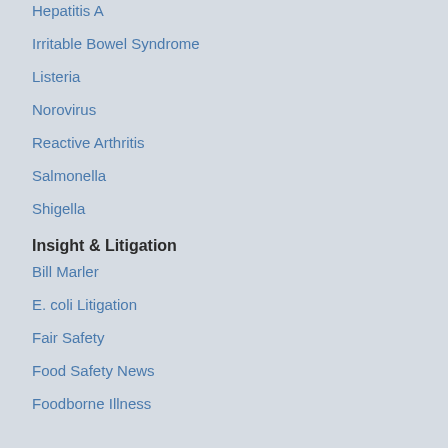Hepatitis A
Irritable Bowel Syndrome
Listeria
Norovirus
Reactive Arthritis
Salmonella
Shigella
Insight & Litigation
Bill Marler
E. coli Litigation
Fair Safety
Food Safety News
Foodborne Illness